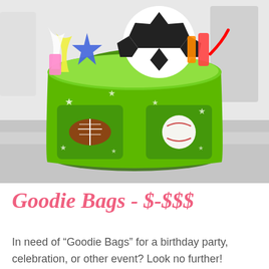[Figure (photo): A green plastic bucket/pail decorated with sports motifs (football, stars) sitting on a metal surface, filled with candy, a soccer ball, and various party items.]
Goodie Bags - $-$$$
In need of "Goodie Bags" for a birthday party, celebration, or other event? Look no further! Something Sweet can